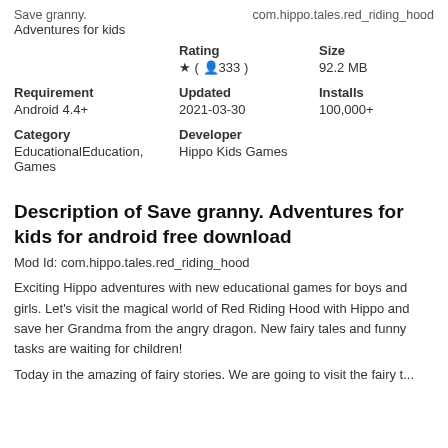Save granny.
com.hippo.tales.red_riding_hood
Adventures for kids
|  | Rating | Size |
| --- | --- | --- |
|  | ★ (👤333) | 92.2 MB |
| Requirement | Updated | Installs |
| --- | --- | --- |
| Android 4.4+ | 2021-03-30 | 100,000+ |
| Category | Developer |
| --- | --- |
| EducationalEducation, Games | Hippo Kids Games |
Description of Save granny. Adventures for kids for android free download
Mod Id: com.hippo.tales.red_riding_hood
Exciting Hippo adventures with new educational games for boys and girls. Let's visit the magical world of Red Riding Hood with Hippo and save her Grandma from the angry dragon. New fairy tales and funny tasks are waiting for children!
Today in the amazing of fairy stories. We are going to visit the fairy...